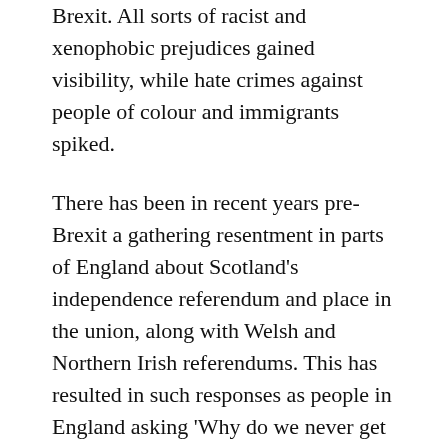Brexit. All sorts of racist and xenophobic prejudices gained visibility, while hate crimes against people of colour and immigrants spiked.
There has been in recent years pre-Brexit a gathering resentment in parts of England about Scotland's independence referendum and place in the union, along with Welsh and Northern Irish referendums. This has resulted in such responses as people in England asking 'Why do we never get a vote?' and 'When are we going to be consulted?'. All of which fed into Brexit.
There was a direct relationship between strength of English identity and supporting Brexit. The British Election Study showed that, on a seven point scale of English identity, those with the strongest English identity supported leaving the EU by 70%, whereas those with the weakest English identity were 80% for